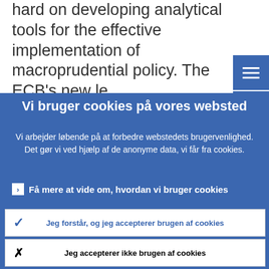hard on developing analytical tools for the effective implementation of macroprudential policy. The ECB's new le... competences in macroprudential policy
Vi bruger cookies på vores websted
Vi arbejder løbende på at forbedre webstedets brugervenlighed. Det gør vi ved hjælp af de anonyme data, vi får fra cookies.
› Få mere at vide om, hvordan vi bruger cookies
✓ Jeg forstår, og jeg accepterer brugen af cookies
✗ Jeg accepterer ikke brugen af cookies